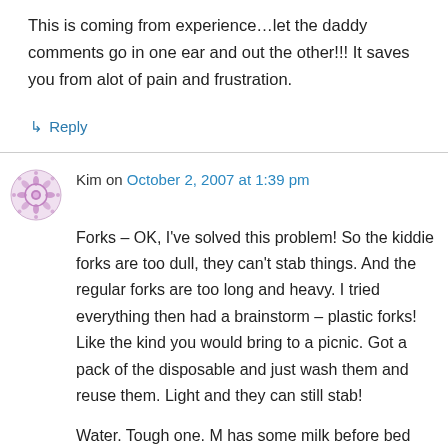This is coming from experience…let the daddy comments go in one ear and out the other!!! It saves you from alot of pain and frustration.
↳ Reply
Kim on October 2, 2007 at 1:39 pm
Forks – OK, I've solved this problem! So the kiddie forks are too dull, they can't stab things. And the regular forks are too long and heavy. I tried everything then had a brainstorm – plastic forks! Like the kind you would bring to a picnic. Got a pack of the disposable and just wash them and reuse them. Light and they can still stab!
Water. Tough one. M has some milk before bed